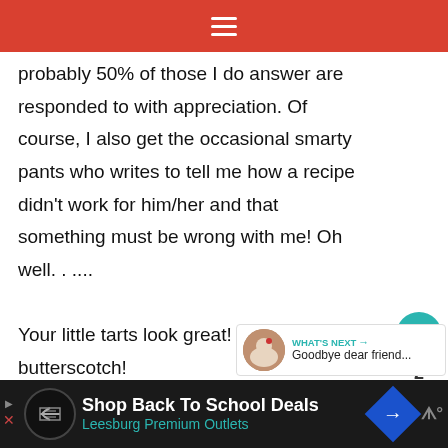≡
probably 50% of those I do answer are responded to with appreciation. Of course, I also get the occasional smarty pants who writes to tell me how a recipe didn't work for him/her and that something must be wrong with me! Oh well. . ....
Your little tarts look great! I love anything butterscotch!
Reply
[Figure (infographic): Floating action buttons: teal heart button with like count of 2, and a share button below]
[Figure (infographic): What's Next panel: thumbnail image with text 'WHAT'S NEXT → Goodbye dear friend...']
[Figure (infographic): Advertisement bar: Shop Back To School Deals - Leesburg Premium Outlets]